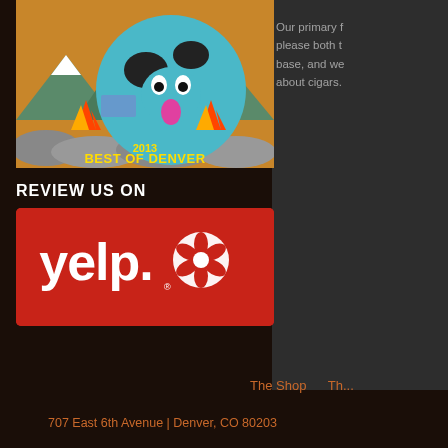[Figure (illustration): 2013 Best of Denver award graphic featuring a stylized cartoon creature with cow-spot pattern against a mountain landscape with flames]
REVIEW US ON
[Figure (logo): Yelp logo on red background — white 'yelp.' text with starburst asterisk icon]
Our primary f... please both t... base, and we... about cigars.
The Shop    Th...
707 East 6th Avenue | Denver, CO 80203